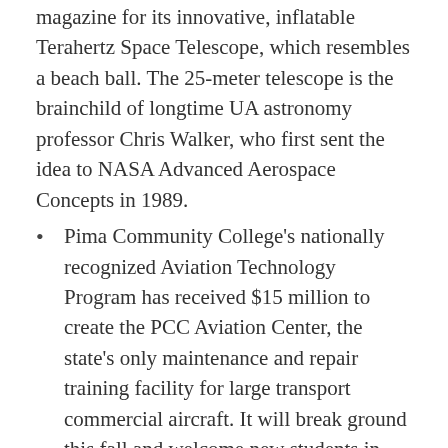magazine for its innovative, inflatable Terahertz Space Telescope, which resembles a beach ball. The 25-meter telescope is the brainchild of longtime UA astronomy professor Chris Walker, who first sent the idea to NASA Advanced Aerospace Concepts in 1989.
Pima Community College's nationally recognized Aviation Technology Program has received $15 million to create the PCC Aviation Center, the state's only maintenance and repair training facility for large transport commercial aircraft. It will break ground this fall and welcome new students in Fall 2020.
The Banner-University Medical Center's nine-story Patient Tower opened in April, adding 228 private rooms, 20 operating rooms, new diagnostic imaging and other labs, and $50 million in new patient-care equipment and